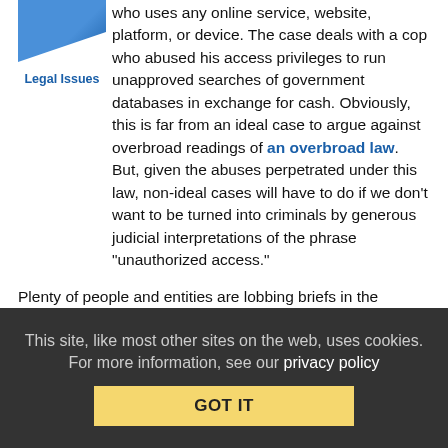[Figure (photo): Partial image of a person or object with blue gradient, top-left corner]
Legal Issues
who uses any online service, website, platform, or device. The case deals with a cop who abused his access privileges to run unapproved searches of government databases in exchange for cash. Obviously, this is far from an ideal case to argue against overbroad readings of an overbroad law. But, given the abuses perpetrated under this law, non-ideal cases will have to do if we don't want to be turned into criminals by generous judicial interpretations of the phrase "unauthorized access."
Plenty of people and entities are lobbing briefs in the Supreme Court's direction, begging it to avoid criminalizing activities honest Americans participate in every day. It's not just about security research. But it definitely does affect researchers — both those engaging in normal security research efforts, and those ignoring websites' terms of service in attempts to determine whether sites engage in biased practices.
This site, like most other sites on the web, uses cookies. For more information, see our privacy policy
GOT IT